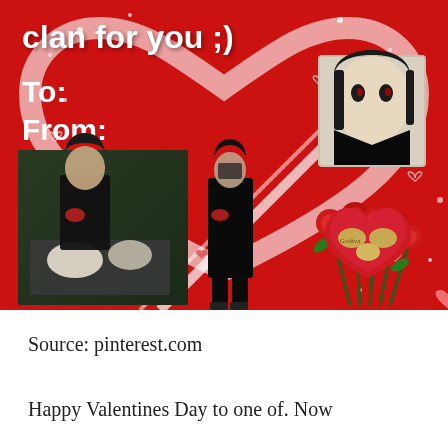[Figure (illustration): A Valentine's Day meme card with a red background, featuring Itachi Uchiha from Naruto/Akatsuki. Text reads 'clan for you ;)' with 'To:' and 'From:' fields. Includes photos of Itachi preparing food (left), an Akatsuki figure (center), a manga-style portrait (top right), red roses and a heart-shaped chocolate box (bottom right). Decorated with small hearts and sparkles throughout.]
Source: pinterest.com
Happy Valentines Day to one of. Now